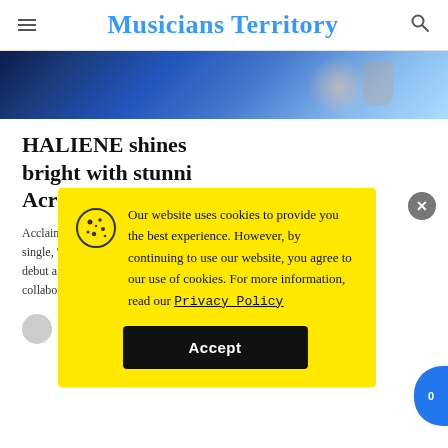Musicians Territory
[Figure (photo): Partial hero image showing a fantasy/celestial scene with blue and teal tones]
HALIENE shines bright with stunning... Across...
Acclaimed... single, 'Re... debut albu... collaborat...
Mu... Aug...
Our website uses cookies to provide you the best experience. However, by continuing to use our website, you agree to our use of cookies. For more information, read our Privacy Policy
Accept